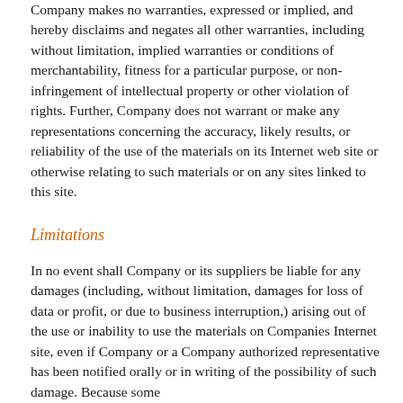Company makes no warranties, expressed or implied, and hereby disclaims and negates all other warranties, including without limitation, implied warranties or conditions of merchantability, fitness for a particular purpose, or non-infringement of intellectual property or other violation of rights. Further, Company does not warrant or make any representations concerning the accuracy, likely results, or reliability of the use of the materials on its Internet web site or otherwise relating to such materials or on any sites linked to this site.
Limitations
In no event shall Company or its suppliers be liable for any damages (including, without limitation, damages for loss of data or profit, or due to business interruption,) arising out of the use or inability to use the materials on Companies Internet site, even if Company or a Company authorized representative has been notified orally or in writing of the possibility of such damage. Because some